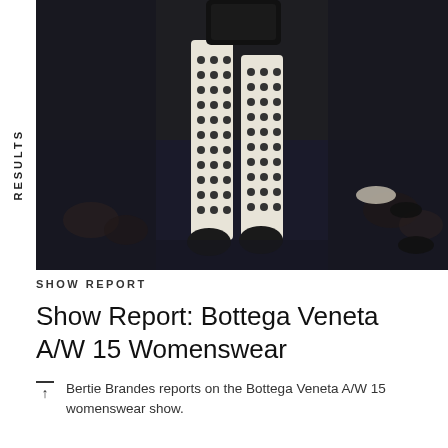RESULTS
[Figure (photo): Fashion runway photo showing a model from waist down, wearing a black and white polka dot wide-leg trouser suit and carrying a black handbag, walking on a dark blue runway. Audience visible on both sides.]
SHOW REPORT
Show Report: Bottega Veneta A/W 15 Womenswear
Bertie Brandes reports on the Bottega Veneta A/W 15 womenswear show.